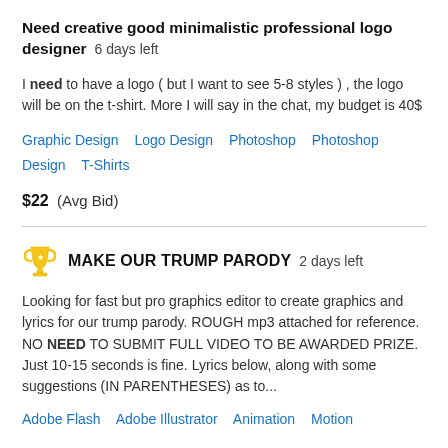Need creative good minimalistic professional logo designer  6 days left
I need to have a logo ( but I want to see 5-8 styles ) , the logo will be on the t-shirt. More I will say in the chat, my budget is 40$
Graphic Design   Logo Design   Photoshop   Photoshop Design   T-Shirts
$22  (Avg Bid)
MAKE OUR TRUMP PARODY  2 days left
Looking for fast but pro graphics editor to create graphics and lyrics for our trump parody. ROUGH mp3 attached for reference. NO NEED TO SUBMIT FULL VIDEO TO BE AWARDED PRIZE. Just 10-15 seconds is fine. Lyrics below, along with some suggestions (IN PARENTHESES) as to...
Adobe Flash   Adobe Illustrator   Animation   Motion